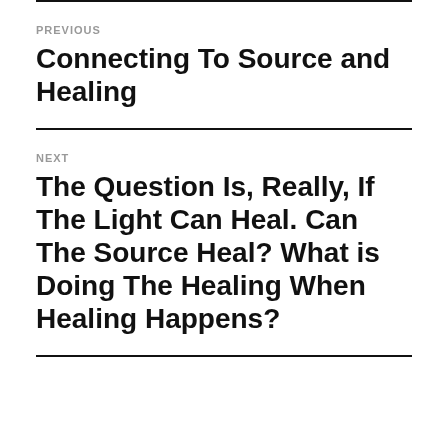PREVIOUS
Connecting To Source and Healing
NEXT
The Question Is, Really, If The Light Can Heal. Can The Source Heal? What is Doing The Healing When Healing Happens?